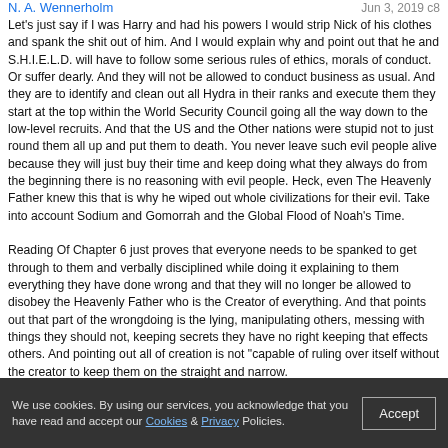N. A. Wennerholm — Jun 3, 2019 c8
Let's just say if I was Harry and had his powers I would strip Nick of his clothes and spank the shit out of him. And I would explain why and point out that he and S.H.I.E.L.D. will have to follow some serious rules of ethics, morals of conduct. Or suffer dearly. And they will not be allowed to conduct business as usual. And they are to identify and clean out all Hydra in their ranks and execute them they start at the top within the World Security Council going all the way down to the low-level recruits. And that the US and the Other nations were stupid not to just round them all up and put them to death. You never leave such evil people alive because they will just buy their time and keep doing what they always do from the beginning there is no reasoning with evil people. Heck, even The Heavenly Father knew this that is why he wiped out whole civilizations for their evil. Take into account Sodium and Gomorrah and the Global Flood of Noah's Time.

Reading Of Chapter 6 just proves that everyone needs to be spanked to get through to them and verbally disciplined while doing it explaining to them everything they have done wrong and that they will no longer be allowed to disobey the Heavenly Father who is the Creator of everything. And that points out that part of the wrongdoing is the lying, manipulating others, messing with things they should not, keeping secrets they have no right keeping that effects others. And pointing out all of creation is not "capable of ruling over itself without the creator to keep them on the straight and narrow.
Thifarrddv — May 28, 2019 c8
*YOU STOPPED THERE!? YOU HAD MO RIGHT. THIS WAS AWESOME.
We use cookies. By using our services, you acknowledge that you have read and accept our Cookies & Privacy Policies. Accept